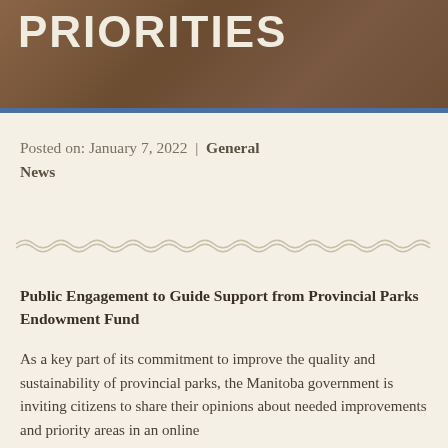PRIORITIES
Posted on: January 7, 2022  |  General News
Public Engagement to Guide Support from Provincial Parks Endowment Fund
As a key part of its commitment to improve the quality and sustainability of provincial parks, the Manitoba government is inviting citizens to share their opinions about needed improvements and priority areas in an online